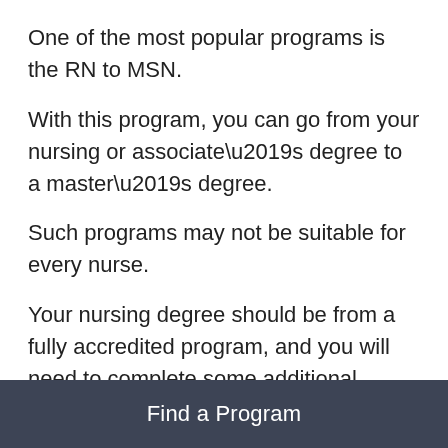One of the most popular programs is the RN to MSN.
With this program, you can go from your nursing or associate’s degree to a master’s degree.
Such programs may not be suitable for every nurse.
Your nursing degree should be from a fully accredited program, and you will need to complete some additional prerequisites.
These requirements depend on the program.
Find a Program